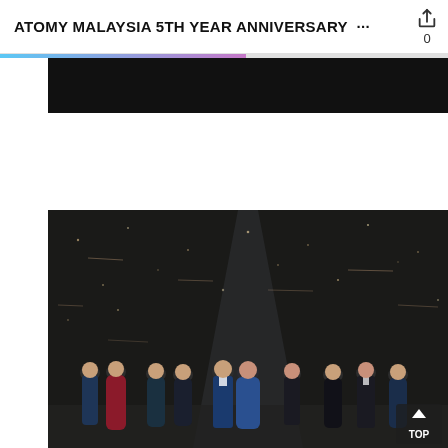ATOMY MALAYSIA 5TH YEAR ANNIVERSARY ···  0
[Figure (photo): Dark stage photo showing a group of formally dressed people wearing face masks standing on a dark stage with decorative sparkle light effects in the background. Men in tuxedos, women in gowns of red, navy/teal, and black.]